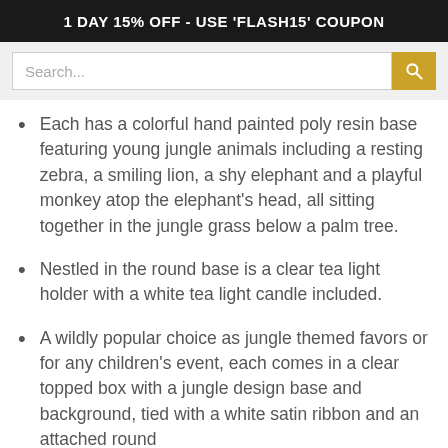1 DAY 15% OFF - USE 'FLASH15' COUPON
Each has a colorful hand painted poly resin base featuring young jungle animals including a resting zebra, a smiling lion, a shy elephant and a playful monkey atop the elephant's head, all sitting together in the jungle grass below a palm tree.
Nestled in the round base is a clear tea light holder with a white tea light candle included.
A wildly popular choice as jungle themed favors or for any children's event, each comes in a clear topped box with a jungle design base and background, tied with a white satin ribbon and an attached round